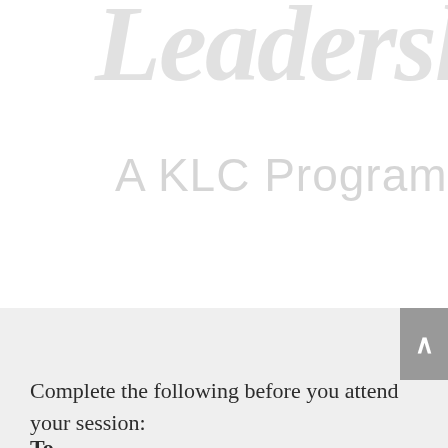Leadership
A KLC Program
Complete the following before you attend your session:
To...